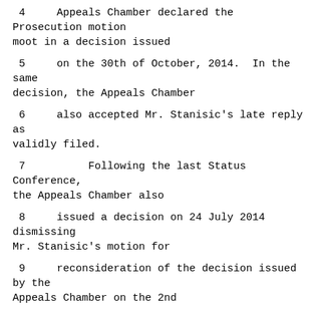4    Appeals Chamber declared the Prosecution motion moot in a decision issued
5    on the 30th of October, 2014.  In the same decision, the Appeals Chamber
6    also accepted Mr. Stanisic's late reply as validly filed.
7         Following the last Status Conference, the Appeals Chamber also
8    issued a decision on 24 July 2014 dismissing Mr. Stanisic's motion for
9    reconsideration of the decision issued by the Appeals Chamber on the 2nd
10   of April, 2014.  In the April decision, the Appeals Chamber also